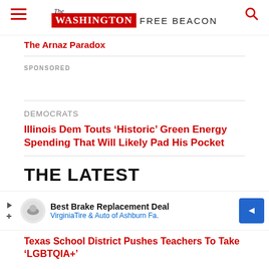The Washington Free Beacon
The Arnaz Paradox
SPONSORED
DEMOCRATS
Illinois Dem Touts ‘Historic’ Green Energy Spending That Will Likely Pad His Pocket
THE LATEST
[Figure (other): Advertisement banner: Best Brake Replacement Deal, VirginiaTire & Auto of Ashburn Fa.]
Texas School District Pushes Teachers To Take ‘LGBTQIA+’